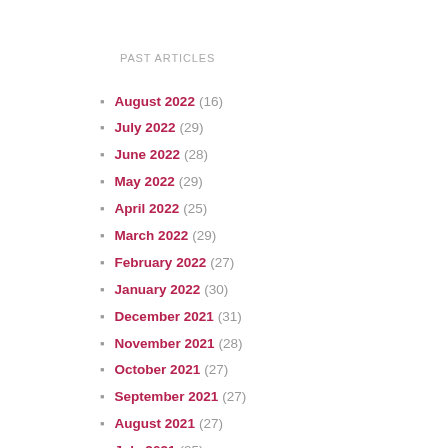PAST ARTICLES
August 2022 (16)
July 2022 (29)
June 2022 (28)
May 2022 (29)
April 2022 (25)
March 2022 (29)
February 2022 (27)
January 2022 (30)
December 2021 (31)
November 2021 (28)
October 2021 (27)
September 2021 (27)
August 2021 (27)
July 2021 (25)
June 2021 (30)
May 2021 (31)
April 2021 (28)
March 2021 (29)
February 2021 (25)